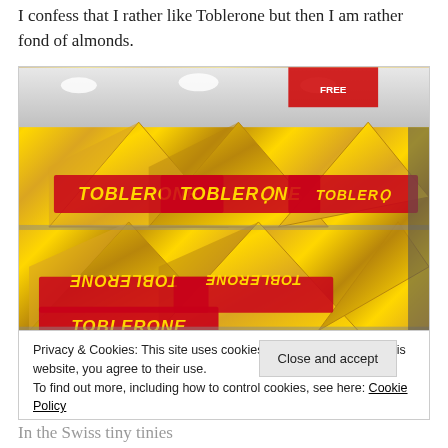I confess that I rather like Toblerone but then I am rather fond of almonds.
[Figure (photo): Stacked Toblerone chocolate bar boxes in yellow triangular packaging displayed on store shelves, with 'TOBLERONE' branding visible on multiple bars.]
Privacy & Cookies: This site uses cookies. By continuing to use this website, you agree to their use.
To find out more, including how to control cookies, see here: Cookie Policy
Close and accept
In the Swiss tiny tinies